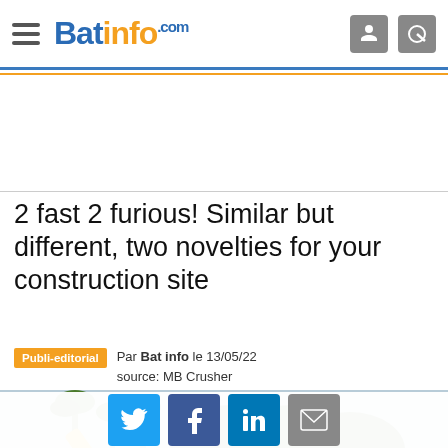Batinfo.com
2 fast 2 furious! Similar but different, two novelties for your construction site
Publi-editorial
Par Bat info le 13/05/22
source: MB Crusher
[Figure (photo): Yellow CAT excavator/backhoe on a construction site with palm trees and a worker in high-visibility vest in background]
[Figure (infographic): Social media share buttons: Twitter, Facebook, LinkedIn, Email]